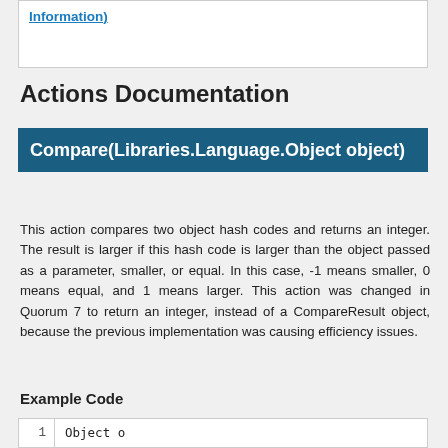Information)
Actions Documentation
Compare(Libraries.Language.Object object)
This action compares two object hash codes and returns an integer. The result is larger if this hash code is larger than the object passed as a parameter, smaller, or equal. In this case, -1 means smaller, 0 means equal, and 1 means larger. This action was changed in Quorum 7 to return an integer, instead of a CompareResult object, because the previous implementation was causing efficiency issues.
Example Code
1   Object o